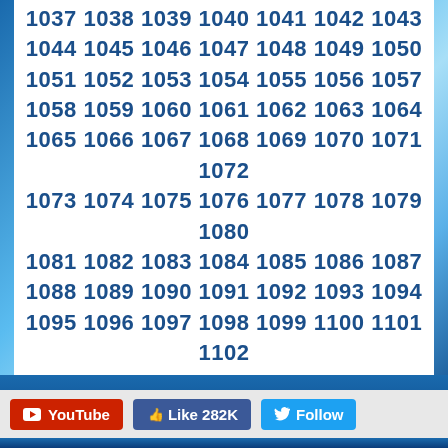1037 1038 1039 1040 1041 1042 1043 1044 1045 1046 1047 1048 1049 1050 1051 1052 1053 1054 1055 1056 1057 1058 1059 1060 1061 1062 1063 1064 1065 1066 1067 1068 1069 1070 1071 1072 1073 1074 1075 1076 1077 1078 1079 1080 1081 1082 1083 1084 1085 1086 1087 1088 1089 1090 1091 1092 1093 1094 1095 1096 1097 1098 1099 1100 1101 1102 1103 1104 1105 1106 1107 1108 1109 1110 1111 1112 1113 1114 1115 1116 1117 1118 1119 1120 1121 1122 1123 1124 1125 1126 1127 1128 1129 1130 1131 1132 1133 1134 1135 1136 1137 1138 1139 1140 1141 1142 1143 1144 1145 1146 1147 1148 1149 1150 1151 1152 1153 1154 1155 1156 1157 1158 1159 1160 1161 1162 1163 ...
[Figure (screenshot): Social media buttons: YouTube, Like 282K (Facebook), Follow (Twitter)]